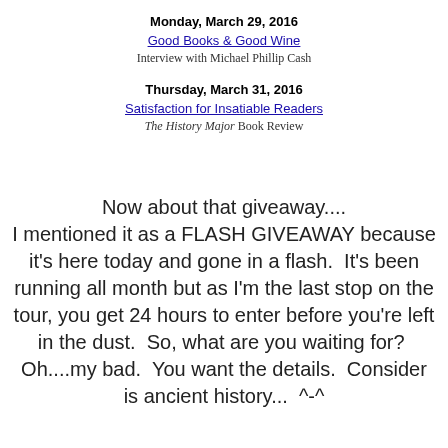Monday, March 29, 2016
Good Books & Good Wine
Interview with Michael Phillip Cash
Thursday, March 31, 2016
Satisfaction for Insatiable Readers
The History Major Book Review
Now about that giveaway.... I mentioned it as a FLASH GIVEAWAY because it's here today and gone in a flash.  It's been running all month but as I'm the last stop on the tour, you get 24 hours to enter before you're left in the dust.  So, what are you waiting for?  Oh....my bad.  You want the details.  Consider is ancient history...  ^-^